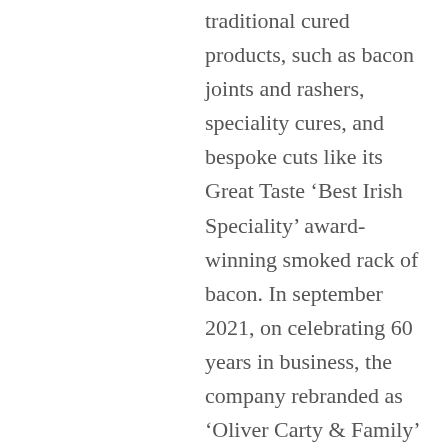traditional cured products, such as bacon joints and rashers, speciality cures, and bespoke cuts like its Great Taste ‘Best Irish Speciality’ award-winning smoked rack of bacon. In september 2021, on celebrating 60 years in business, the company rebranded as ‘Oliver Carty & Family’ and created the slogan ‘The Carty Way’ to refer to its unique production methods, which include smoking the bacon, in an onsite smokehouse, using beech, oak and cherrywood. It also launched its own branded range of pork, bacon and turkey products. The pork for these products comes from the Little River Pig Farm in Enniscorthy, Co. Wexford. This meat is cured using Irish Atlantic sea salt,